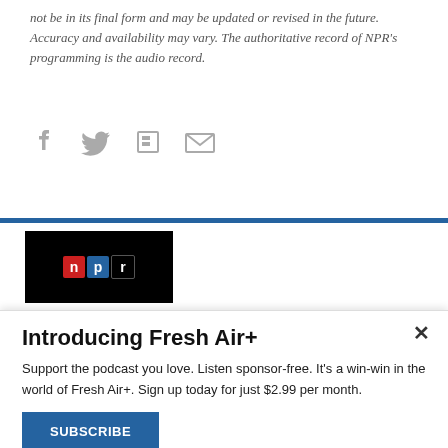not be in its final form and may be updated or revised in the future. Accuracy and availability may vary. The authoritative record of NPR's programming is the audio record.
[Figure (other): Social sharing icons: Facebook, Twitter, Flipboard, Email]
[Figure (screenshot): NPR logo on black background inside a bordered box with blue top and bottom borders]
Introducing Fresh Air+
Support the podcast you love. Listen sponsor-free. It's a win-win in the world of Fresh Air+. Sign up today for just $2.99 per month.
SUBSCRIBE